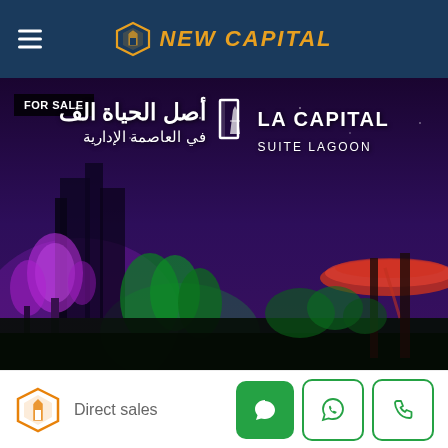NEW CAPITAL
[Figure (photo): Night cityscape of New Administrative Capital Egypt with 'La Capital Suite Lagoon' branding overlay. Arabic text: أصل الحياة في العاصمة الإدارية. FOR SALE badge in top left. Purple-lit trees, modern architecture, circular building visible on right.]
FOR SALE
LA CAPITAL SUITE LAGOON
أصل الحياة الف في العاصمة الإدارية
Direct sales